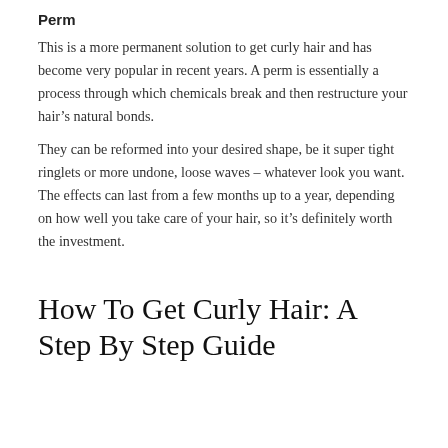Perm
This is a more permanent solution to get curly hair and has become very popular in recent years. A perm is essentially a process through which chemicals break and then restructure your hair’s natural bonds.
They can be reformed into your desired shape, be it super tight ringlets or more undone, loose waves – whatever look you want. The effects can last from a few months up to a year, depending on how well you take care of your hair, so it’s definitely worth the investment.
How To Get Curly Hair: A Step By Step Guide